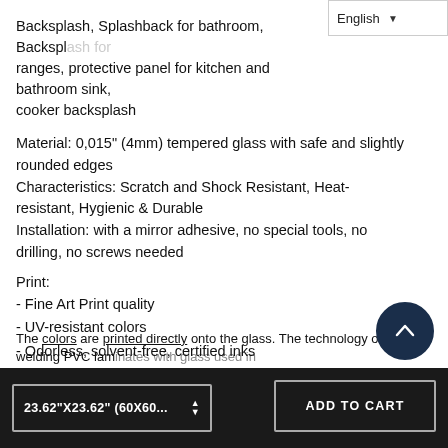English
Backsplash, Splashback for bathroom, Backsplash for ranges, protective panel for kitchen and bathroom sink, cooker backsplash
Material: 0,015" (4mm) tempered glass with safe and slightly rounded edges
Characteristics: Scratch and Shock Resistant, Heat-resistant, Hygienic & Durable
Installation: with a mirror adhesive, no special tools, no drilling, no screws needed
Print:
- Fine Art Print quality
- UV-resistant colors
- Odorless, solvent-free, certified inks
The colors are printed directly onto the glass. The technology of welding PVC laminates with glass used in
23.62"X23.62" (60X60...
ADD TO CART